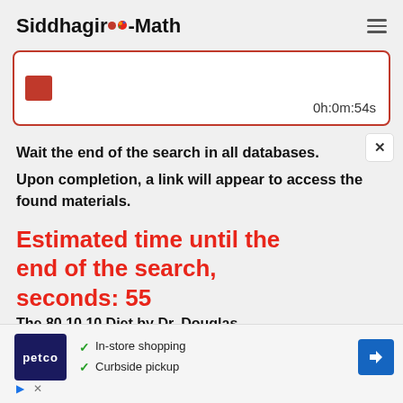Siddhagiri-Math
[Figure (screenshot): Search progress box with red border, red icon, and timer showing 0h:0m:54s]
Wait the end of the search in all databases.
Upon completion, a link will appear to access the found materials.
Estimated time until the end of the search, seconds: 55
The 80 10 10 Diet by Dr. Douglas
[Figure (infographic): Petco advertisement banner with In-store shopping and Curbside pickup options]